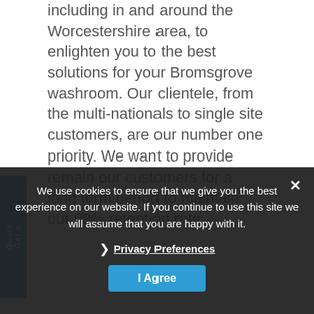including in and around the Worcestershire area, to enlighten you to the best solutions for your Bromsgrove washroom. Our clientele, from the multi-nationals to single site customers, are our number one priority. We want to provide remain our customers for a long term period to maintain our 99% retention rate.
We use cookies to ensure that we give you the best experience on our website. If you continue to use this site we will assume that you are happy with it.
Privacy Preferences
I Agree